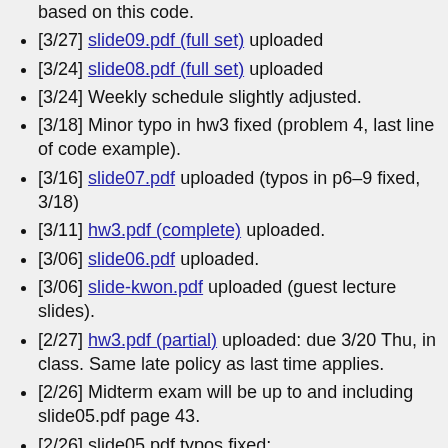based on this code.
[3/27] slide09.pdf (full set) uploaded
[3/24] slide08.pdf (full set) uploaded
[3/24] Weekly schedule slightly adjusted.
[3/18] Minor typo in hw3 fixed (problem 4, last line of code example).
[3/16] slide07.pdf uploaded (typos in p6–9 fixed, 3/18)
[3/11] hw3.pdf (complete) uploaded.
[3/06] slide06.pdf uploaded.
[3/06] slide-kwon.pdf uploaded (guest lecture slides).
[2/27] hw3.pdf (partial) uploaded: due 3/20 Thu, in class. Same late policy as last time applies.
[2/26] Midterm exam will be up to and including slide05.pdf page 43.
[2/26] slide05.pdf typos fixed: